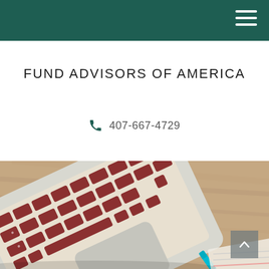Fund Advisors of America — navigation header
FUND ADVISORS OF AMERICA
☎ 407-667-4729
[Figure (photo): Aerial view of a laptop keyboard on a wooden desk with financial documents and a teal pen visible in the bottom right corner.]